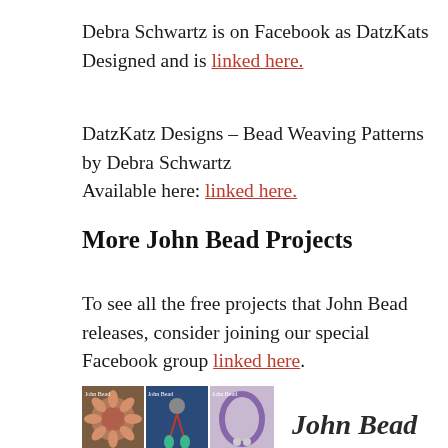Debra Schwartz is on Facebook as DatzKats Designed and is linked here.
DatzKatz Designs – Bead Weaving Patterns by Debra Schwartz
Available here: linked here.
More John Bead Projects
To see all the free projects that John Bead releases, consider joining our special Facebook group linked here.
[Figure (photo): Three photos of beaded jewelry pieces side by side, with a John Bead cursive signature logo to the right.]